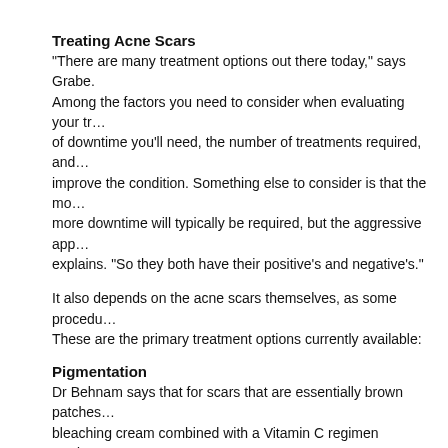Treating Acne Scars
“There are many treatment options out there today,” says Grabe. Among the factors you need to consider when evaluating your tr… of downtime you’ll need, the number of treatments required, and… improve the condition. Something else to consider is that the mo… more downtime will typically be required, but the aggressive app… explains. “So they both have their positive’s and negative’s.”
It also depends on the acne scars themselves, as some procedu… These are the primary treatment options currently available:
Pigmentation
Dr Behnam says that for scars that are essentially brown patches… bleaching cream combined with a Vitamin C regimen produces t… 3-4 months for results to occur, but the cost is relatively low.
“Another option for reducing the appearance of darker patches… Behnam. “A peel is a more aggressive treatment and more costl… There are many types of peels, from deep to superficial, but as…